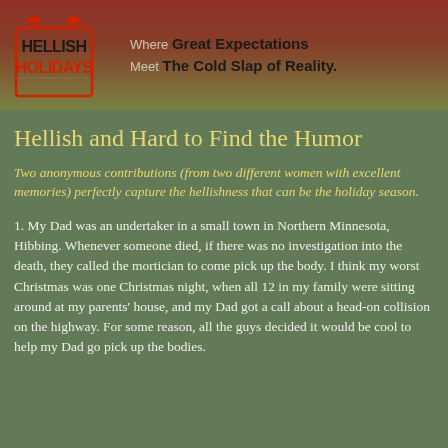[Figure (logo): Hellish Holidays logo with devil horns above stylized text in red and black]
Where Great Expectations Meet The Cold Slap of Reality.
Hellish and Hard to Find the Humor
Two anonymous contributions (from two different women with excellent memories) perfectly capture the hellishness that can be the holiday season.
1. My Dad was an undertaker in a small town in Northern Minnesota, Hibbing. Whenever someone died, if there was no investigation into the death, they called the mortician to come pick up the body. I think my worst Christmas was one Christmas night, when all 12 in my family were sitting around at my parents' house, and my Dad got a call about a head-on collision on the highway. For some reason, all the guys decided it would be cool to help my Dad go pick up the bodies.